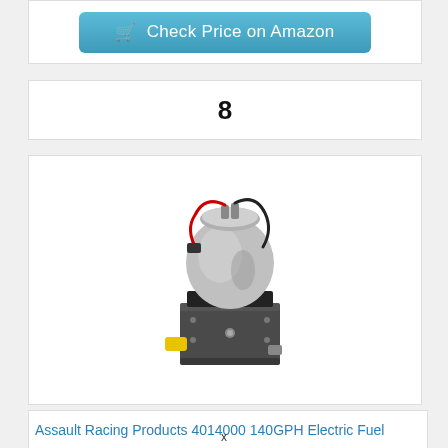[Figure (other): Check Price on Amazon button with shopping cart icon, blue rounded rectangle button]
8
[Figure (photo): Electric fuel pump product photo - Assault Racing Products 140GPH electric fuel pump, chrome and black body with yellow fittings and red/black wires]
Assault Racing Products 4014000 140GPH Electric Fuel